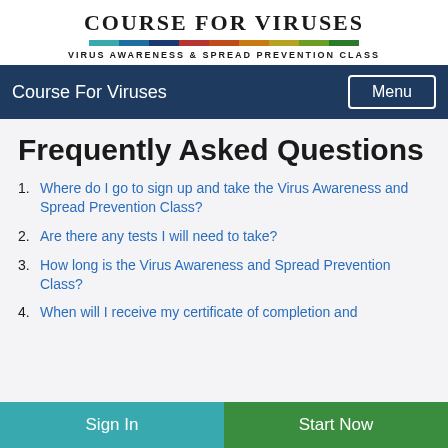Course For Viruses — Virus Awareness & Spread Prevention Class
Course For Viruses
Frequently Asked Questions
Where do I go to sign up and take the Virus Awareness and Spread Prevention Class?
Are there any tests I will need to take?
How long is the Virus Awareness and Spread Prevention Class?
When will I receive my certificate of completion and